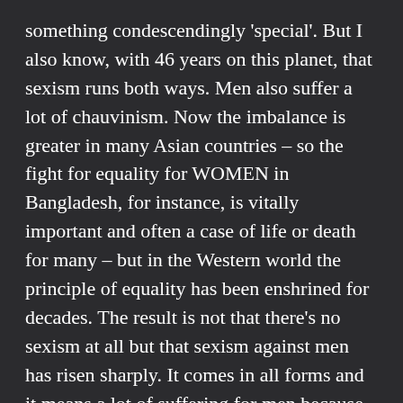something condescendingly 'special'. But I also know, with 46 years on this planet, that sexism runs both ways. Men also suffer a lot of chauvinism. Now the imbalance is greater in many Asian countries – so the fight for equality for WOMEN in Bangladesh, for instance, is vitally important and often a case of life or death for many – but in the Western world the principle of equality has been enshrined for decades. The result is not that there's no sexism at all but that sexism against men has risen sharply. It comes in all forms and it means a lot of suffering for men because there's still the image that a man has to 'man up' and suffer it in silence. Suicides among men have worryingly risen fast in recent years.
The point to this preamble is that if a woman says to me some remark about 'men' I won't launch into a